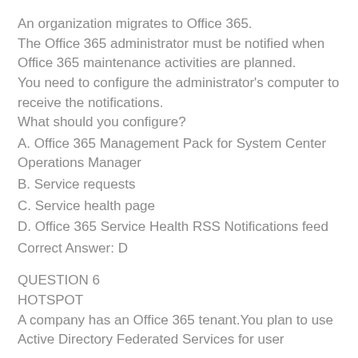An organization migrates to Office 365. The Office 365 administrator must be notified when Office 365 maintenance activities are planned. You need to configure the administrator's computer to receive the notifications. What should you configure?
A. Office 365 Management Pack for System Center Operations Manager
B. Service requests
C. Service health page
D. Office 365 Service Health RSS Notifications feed
Correct Answer: D
QUESTION 6
HOTSPOT
A company has an Office 365 tenant.You plan to use Active Directory Federated Services for user